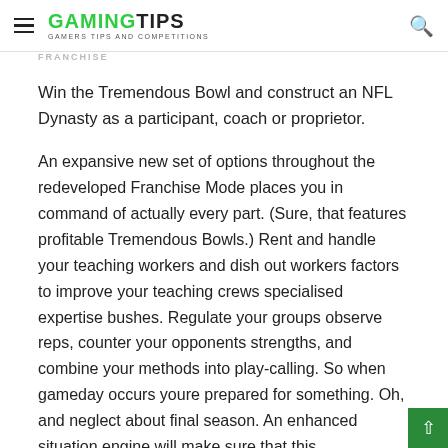GAMINGTIPS — GAMERS TIPS AND COMPETITIONS
FRANCHISE
Win the Tremendous Bowl and construct an NFL Dynasty as a participant, coach or proprietor.
An expansive new set of options throughout the redeveloped Franchise Mode places you in command of actually every part. (Sure, that features profitable Tremendous Bowls.) Rent and handle your teaching workers and dish out workers factors to improve your teaching crews specialised expertise bushes. Regulate your groups observe reps, counter your opponents strengths, and combine your methods into play-calling. So when gameday occurs youre prepared for something. Oh, and neglect about final season. An enhanced situation engine will make sure that this